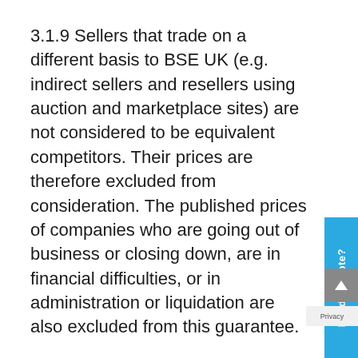3.1.9 Sellers that trade on a different basis to BSE UK (e.g. indirect sellers and resellers using auction and marketplace sites) are not considered to be equivalent competitors. Their prices are therefore excluded from consideration. The published prices of companies who are going out of business or closing down, are in financial difficulties, or in administration or liquidation are also excluded from this guarantee.
3.1.10 We reserve the right to reject an application for any price matching offer if, in our opinion, the quoted prices are unverifiable and the terms of the sale are not considered identical
3.1.11 We reserve the right to withdraw any